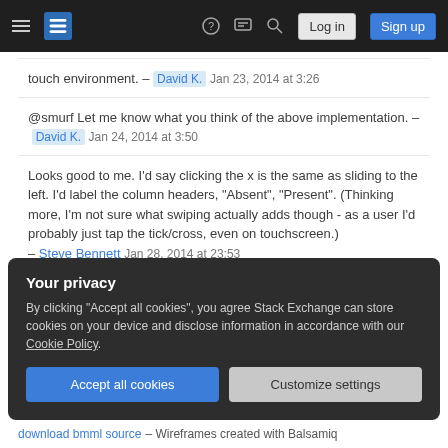Stack Exchange navigation bar with hamburger menu, logo, help, chat, search icons, Log in and Sign up buttons
touch environment. – David K. Jan 23, 2014 at 3:26
@smurf Let me know what you think of the above implementation. – David K. Jan 24, 2014 at 3:50
Looks good to me. I'd say clicking the x is the same as sliding to the left. I'd label the column headers, "Absent", "Present". (Thinking more, I'm not sure what swiping actually adds though - as a user I'd probably just tap the tick/cross, even on touchscreen.) – Steve Bennett Jan 28, 2014 at 23:53
Show 1 more comment
Your privacy
By clicking "Accept all cookies", you agree Stack Exchange can store cookies on your device and disclose information in accordance with our Cookie Policy.
Accept all cookies   Customize settings
download bmml source – Wireframes created with Balsamiq